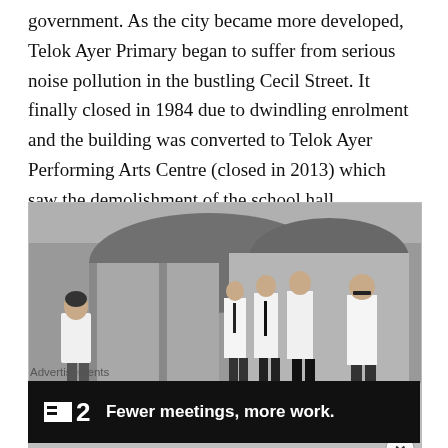government. As the city became more developed, Telok Ayer Primary began to suffer from serious noise pollution in the bustling Cecil Street. It finally closed in 1984 due to dwindling enrolment and the building was converted to Telok Ayer Performing Arts Centre (closed in 2013) which saw the demolishment of the school hall.
[Figure (photo): Black and white photograph showing a school scene. On the left, a young girl in a white vest walks past. In the background, several adults in white shirts and dark trousers (officials or teachers) stand observing. A group of children are crouched or seated on the ground in the foreground.]
Advertisements
[Figure (screenshot): Advertisement banner with black background showing a white square icon with two lines, the number 2, and the text 'Fewer meetings, more work.' in white bold sans-serif font.]